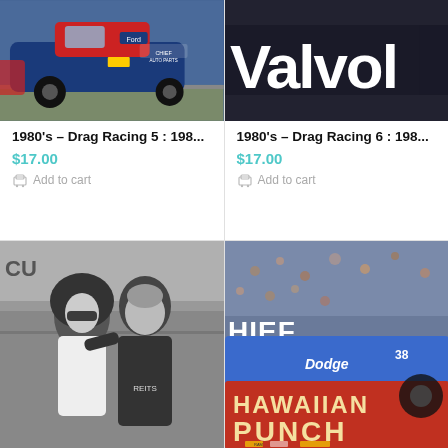[Figure (photo): Vintage blue drag racing car with Ford logo and 'Chief Auto Parts' decal on track]
1980's – Drag Racing 5 : 198...
$17.00
Add to cart
[Figure (photo): Drag racing car near Valvoline advertising banner, close-up]
1980's – Drag Racing 6 : 198...
$17.00
Add to cart
[Figure (photo): Black and white photo of woman with sunglasses and man in t-shirt at racing event]
[Figure (photo): Colorful drag racing cars including blue Dodge and Hawaiian Punch branded car with crowd in background]